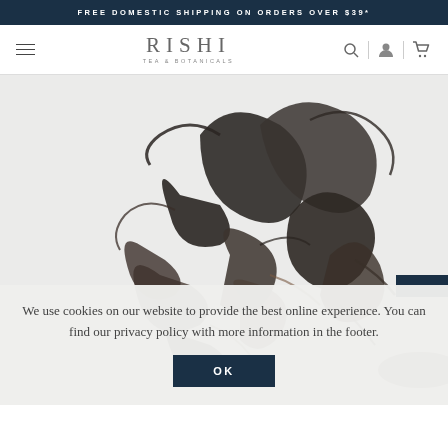FREE DOMESTIC SHIPPING ON ORDERS OVER $39*
[Figure (logo): Rishi Tea & Botanicals logo with hamburger menu and nav icons (search, account, cart)]
[Figure (photo): Close-up of loose leaf dark tea leaves arranged on a light grey background]
We use cookies on our website to provide the best online experience. You can find our privacy policy with more information in the footer.
OK